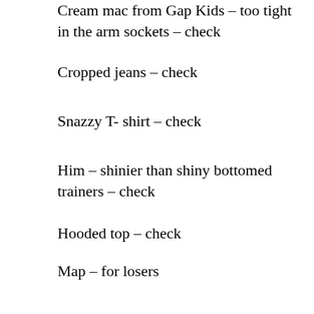Cream mac from Gap Kids – too tight in the arm sockets – check
Cropped jeans – check
Snazzy T- shirt – check
Him – shinier than shiny bottomed trainers – check
Hooded top – check
Map – for losers
Kendal mint cake or other sustinence – no, ta.
The picture of my shoe may give you some idea